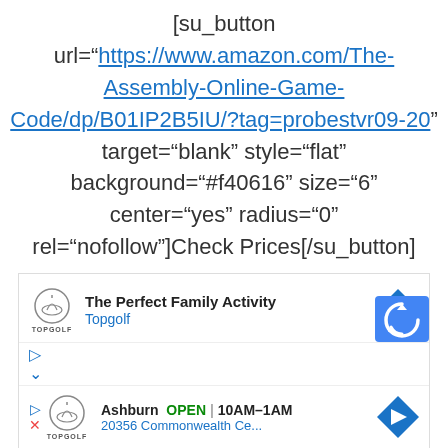[su_button url="https://www.amazon.com/The-Assembly-Online-Game-Code/dp/B01IP2B5IU/?tag=probestvr09-20" target="blank" style="flat" background="#f40616" size="6" center="yes" radius="0" rel="nofollow"]Check Prices[/su_button]
[Figure (screenshot): Advertisement widget showing Topgolf ad with logo, 'The Perfect Family Activity' text, and navigation arrow. Second row shows Ashburn location with OPEN status, hours 10AM-1AM, and address 20356 Commonwealth Ce...]